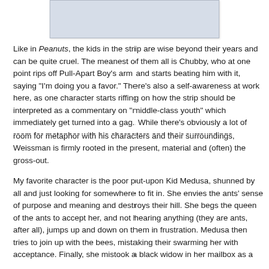[Figure (photo): A partial image at the top of the page, appearing to show a light-colored, possibly sketched or printed illustration with faint lines and text.]
Like in Peanuts, the kids in the strip are wise beyond their years and can be quite cruel. The meanest of them all is Chubby, who at one point rips off Pull-Apart Boy's arm and starts beating him with it, saying "I'm doing you a favor." There's also a self-awareness at work here, as one character starts riffing on how the strip should be interpreted as a commentary on "middle-class youth" which immediately get turned into a gag. While there's obviously a lot of room for metaphor with his characters and their surroundings, Weissman is firmly rooted in the present, material and (often) the gross-out.
My favorite character is the poor put-upon Kid Medusa, shunned by all and just looking for somewhere to fit in. She envies the ants' sense of purpose and meaning and destroys their hill. She begs the queen of the ants to accept her, and not hearing anything (they are ants, after all), jumps up and down on them in frustration. Medusa then tries to join up with the bees, mistaking their swarming her with acceptance. Finally, she mistook a black widow in her mailbox as a